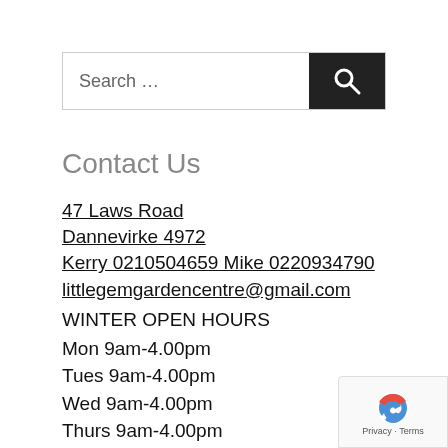[Figure (screenshot): Search bar with text input field showing 'Search ...' placeholder and a black search button with magnifying glass icon]
Contact Us
47 Laws Road
Dannevirke 4972
Kerry 0210504659 Mike 0220934790
littlegemgardencentre@gmail.com
WINTER OPEN HOURS
Mon 9am-4.00pm
Tues 9am-4.00pm
Wed 9am-4.00pm
Thurs 9am-4.00pm
Fri 9am-4.00pm
Sat 9am-3pm